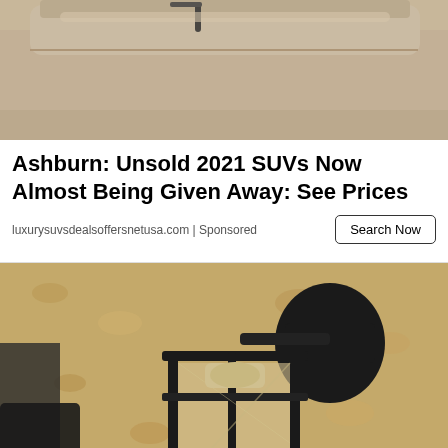[Figure (photo): Close-up photo of the rear trunk/hatch area of a dusty beige/tan SUV, showing the rear wiper and trunk lid, cropped near the top of the page]
Ashburn: Unsold 2021 SUVs Now Almost Being Given Away: See Prices
luxurysuvsdealsoffersnetusa.com | Sponsored
Search Now
[Figure (photo): Photo of a black wrought-iron outdoor wall lantern mounted on a textured stucco wall. The lantern has glass panels and a large white light bulb visible at the bottom.]